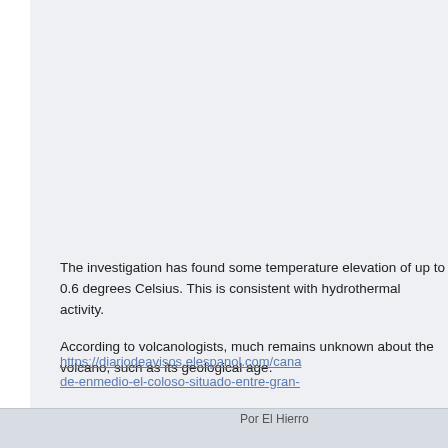The investigation has found some temperature elevation of up to 0.6 degrees Celsius. This is consistent with hydrothermal activity.

According to volcanologists, much remains unknown about the volcano, such as its geological age.
https://diariodeavisos.elespanol.com/cana de-enmedio-el-coloso-situado-entre-gran-
Por El Hierro